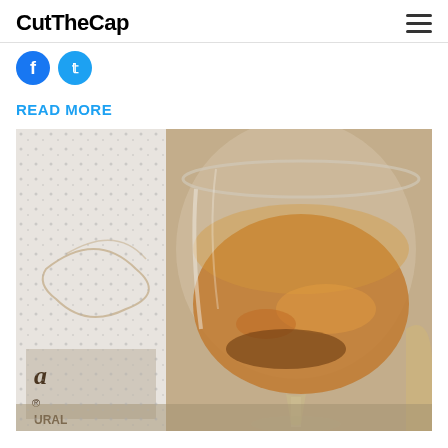CutTheCap
[Figure (other): Two social media icon circles — Facebook (blue) and Twitter (light blue)]
READ MORE
[Figure (photo): Close-up photo of a brandy snifter glass filled with amber liquid, with a frosted beverage bottle partially visible in the background on a wooden surface]